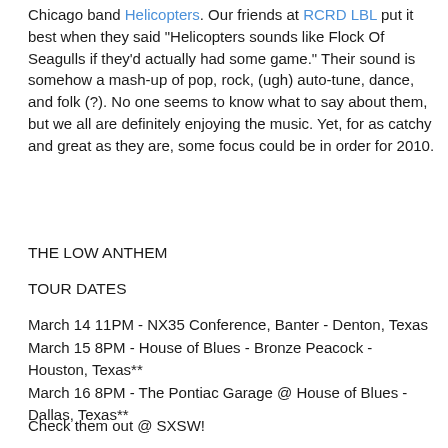Chicago band Helicopters. Our friends at RCRD LBL put it best when they said "Helicopters sounds like Flock Of Seagulls if they'd actually had some game." Their sound is somehow a mash-up of pop, rock, (ugh) auto-tune, dance, and folk (?). No one seems to know what to say about them, but we all are definitely enjoying the music. Yet, for as catchy and great as they are, some focus could be in order for 2010.
THE LOW ANTHEM
TOUR DATES
March 14 11PM - NX35 Conference, Banter - Denton, Texas
March 15 8PM - House of Blues - Bronze Peacock - Houston, Texas**
March 16 8PM - The Pontiac Garage @ House of Blues - Dallas, Texas**
Check them out @ SXSW!